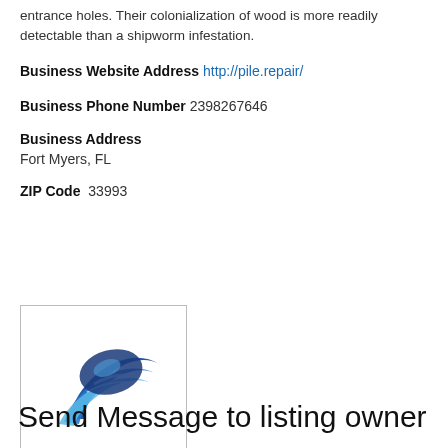entrance holes. Their colonialization of wood is more readily detectable than a shipworm infestation.
Business Website Address  http://pile.repair/
Business Phone Number  2398267646
Business Address
Fort Myers, FL
ZIP Code  33993
[Figure (logo): Blue wave/swoosh logo for pile repair business]
Send Message to listing owner